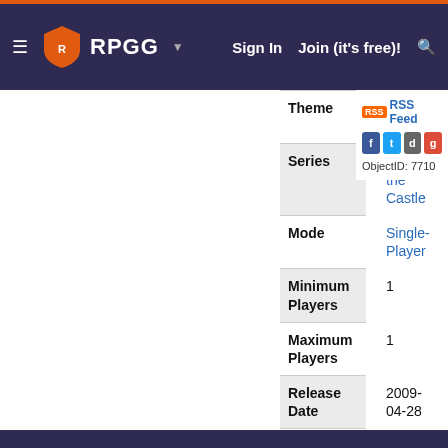RPGG | Sign In | Join (it's free)!
| Field | Value |
| --- | --- |
| Theme | Medieval Physics |
| Series | Crush the Castle |
| Mode | Single-Player |
| Minimum Players | 1 |
| Maximum Players | 1 |
| Release Date | 2009-04-28 |
| Developer | Armor Games Inc, Con Artist Games |
| Publisher | (Web published) Armor Games Inc |
RSS Feed
ObjectID: 7710